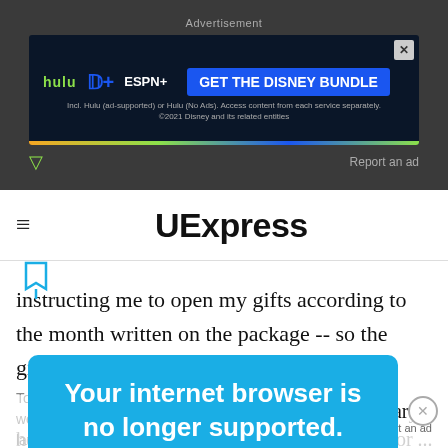[Figure (screenshot): Advertisement banner for the Disney Bundle featuring Hulu, Disney+, and ESPN+ logos with a blue 'GET THE DISNEY BUNDLE' button on a dark navy background]
UExpress
instructing me to open my gifts according to the month written on the package -- so the giving would
[Figure (infographic): Blue popup notification overlay reading 'Your internet browser is no longer supported.' with upgrade recommendation text below]
or February, a
kitchen
To get the best experience on our site, we recommend you upgrade to the latest version.
holoct with wood ouch it was not gift of May; for ...